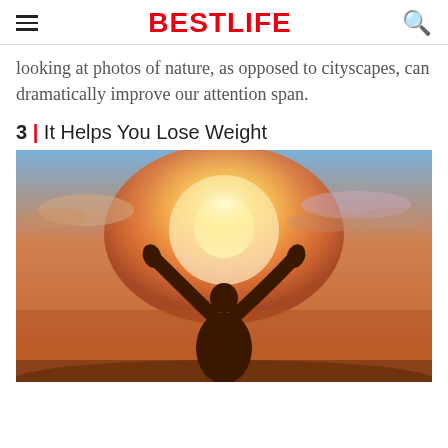BestLife
looking at photos of nature, as opposed to cityscapes, can dramatically improve our attention span.
3 | It Helps You Lose Weight
[Figure (photo): Silhouette of a person with arms raised toward a bright sun, against a warm orange and blue sky with clouds — an inspirational, energetic outdoor scene.]